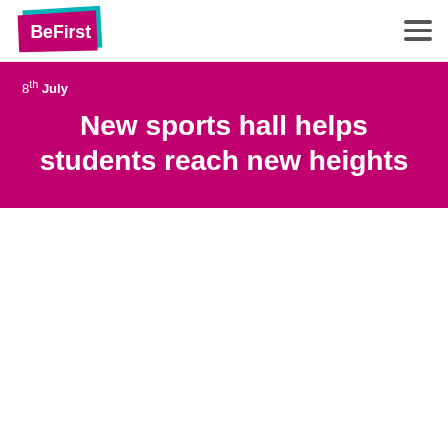BeFirst [logo] [hamburger menu]
8th July
New sports hall helps students reach new heights